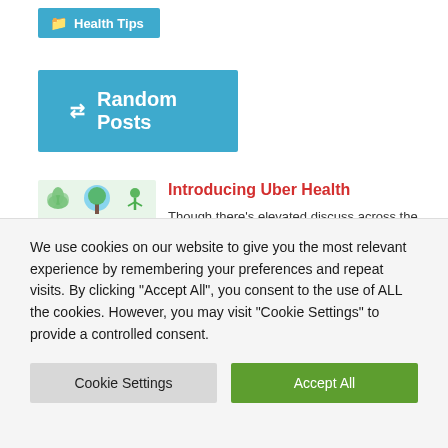Health Tips
Random Posts
Introducing Uber Health
Though there’s elevated discuss across the prognosis and treatment of widespread temper and psychological problems like
370, Jacob Rothschild Grew to
We use cookies on our website to give you the most relevant experience by remembering your preferences and repeat visits. By clicking “Accept All”, you consent to the use of ALL the cookies. However, you may visit "Cookie Settings" to provide a controlled consent.